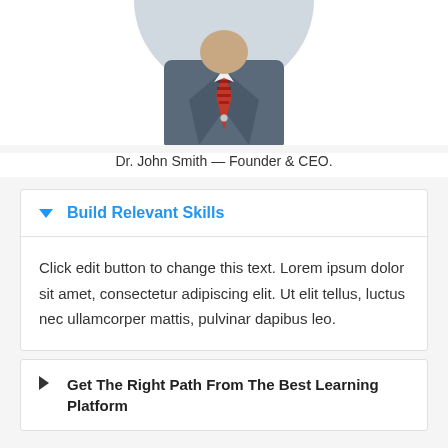[Figure (photo): Partial photo of Dr. John Smith, showing torso in gray suit with patterned tie, circular crop at top]
Dr. John Smith — Founder & CEO.
Build Relevant Skills
Click edit button to change this text. Lorem ipsum dolor sit amet, consectetur adipiscing elit. Ut elit tellus, luctus nec ullamcorper mattis, pulvinar dapibus leo.
Get The Right Path From The Best Learning Platform